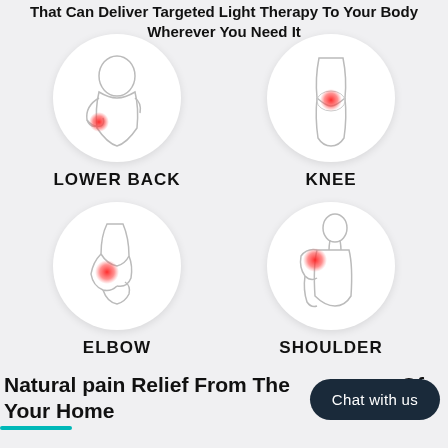That Can Deliver Targeted Light Therapy To Your Body Wherever You Need It
[Figure (illustration): Circle illustration of a person touching their lower back with a red pain indicator spot]
LOWER BACK
[Figure (illustration): Circle illustration of a knee joint with a red pain indicator spot]
KNEE
[Figure (illustration): Circle illustration of an elbow with a red pain indicator spot]
ELBOW
[Figure (illustration): Circle illustration of a shoulder with a red pain indicator spot]
SHOULDER
Natural pain Relief From The Comfort Of Your Home